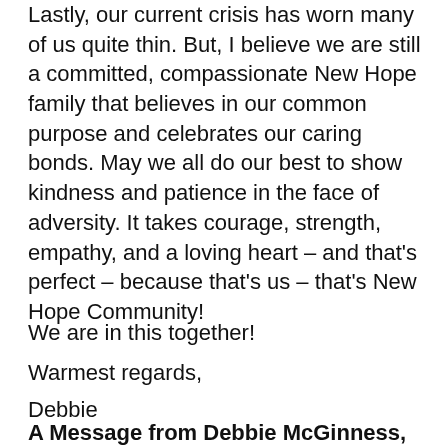Lastly, our current crisis has worn many of us quite thin. But, I believe we are still a committed, compassionate New Hope family that believes in our common purpose and celebrates our caring bonds. May we all do our best to show kindness and patience in the face of adversity. It takes courage, strength, empathy, and a loving heart – and that's perfect – because that's us – that's New Hope Community!
We are in this together!
Warmest regards,
Debbie
A Message from Debbie McGinness, CEO